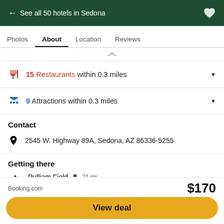← See all 50 hotels in Sedona
Photos | About | Location | Reviews
🍴 15 Restaurants within 0.3 miles
🎭 9 Attractions within 0.3 miles
Contact
📍 2545 W. Highway 89A, Sedona, AZ 86336-5255
Getting there
Pulliam Field 🚗 21 mi — See all flights
Prescott Airport 🚗 38 mi — See all flights
Booking.com  $170
View deal